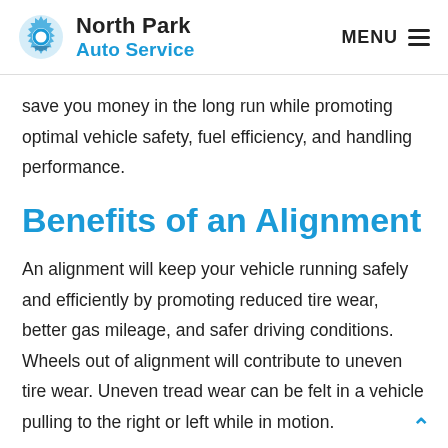North Park Auto Service | MENU
save you money in the long run while promoting optimal vehicle safety, fuel efficiency, and handling performance.
Benefits of an Alignment
An alignment will keep your vehicle running safely and efficiently by promoting reduced tire wear, better gas mileage, and safer driving conditions. Wheels out of alignment will contribute to uneven tire wear. Uneven tread wear can be felt in a vehicle pulling to the right or left while in motion.